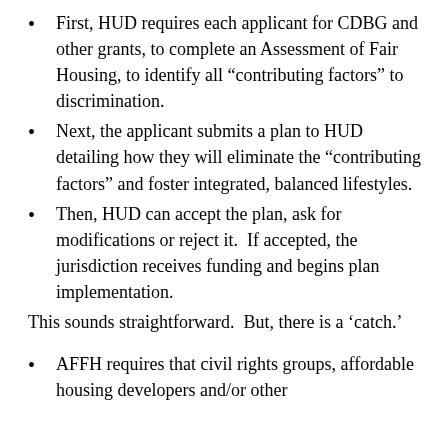First, HUD requires each applicant for CDBG and other grants, to complete an Assessment of Fair Housing, to identify all “contributing factors” to discrimination.
Next, the applicant submits a plan to HUD detailing how they will eliminate the “contributing factors” and foster integrated, balanced lifestyles.
Then, HUD can accept the plan, ask for modifications or reject it.  If accepted, the jurisdiction receives funding and begins plan implementation.
This sounds straightforward.  But, there is a ‘catch.’
AFFH requires that civil rights groups, affordable housing developers and/or other